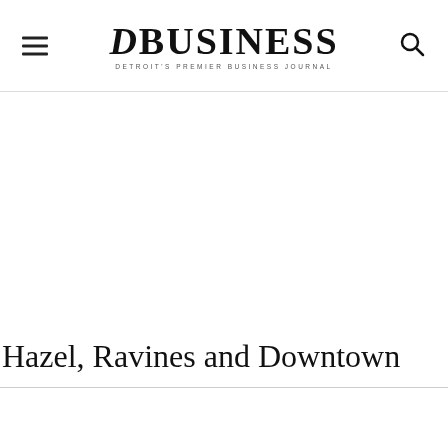DBusiness — Detroit's Premier Business Journal
Hazel, Ravines and Downtown